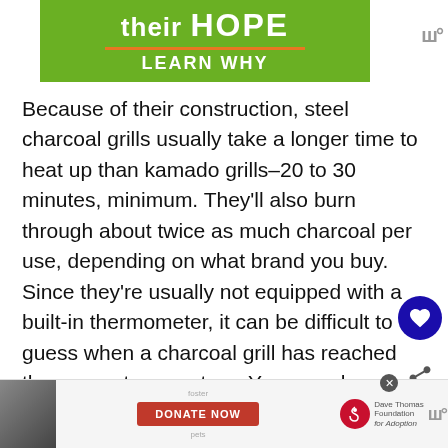[Figure (screenshot): Green banner advertisement showing 'their HOPE' with orange underline and 'LEARN WHY' text, with Meredith logo to the right]
Because of their construction, steel charcoal grills usually take a longer time to heat up than kamado grills–20 to 30 minutes, minimum. They'll also burn through about twice as much charcoal per use, depending on what brand you buy. Since they're usually not equipped with a built-in thermometer, it can be difficult to guess when a charcoal grill has reached the proper temperature. You can also...more
[Figure (screenshot): Bottom banner advertisement with a man in a beanie hat, DONATE NOW button in red, Dave Thomas Foundation for Adoption logo, and Meredith logo]